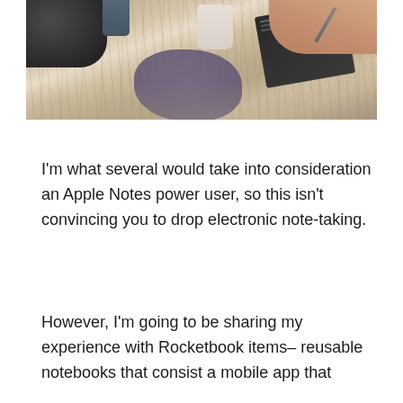[Figure (photo): Overhead photo of a wooden table with a dark leather bag in the top-left, a hand holding a stylus writing in a small notebook/tablet in the top-right, a purple/gray cloth pouch in the center, and a white cup in the upper area. The scene suggests note-taking with a physical notebook.]
I'm what several would take into consideration an Apple Notes power user, so this isn't convincing you to drop electronic note-taking.
However, I'm going to be sharing my experience with Rocketbook items– reusable notebooks that consist a mobile app that